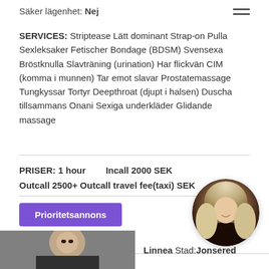Säker lägenhet: Nej
SERVICES: Striptease Lätt dominant Strap-on Pulla Sexleksaker Fetischer Bondage (BDSM) Svensexa Bröstknulla Slavträning (urination) Har flickvän CIM (komma i munnen) Tar emot slavar Prostatemassage Tungkyssar Tortyr Deepthroat (djupt i halsen) Duscha tillsammans Onani Sexiga underkläder Glidande massage
PRISER: 1 hour   Incall 2000 SEK Outcall 2500+ Outcall travel fee(taxi) SEK
Prioritetsannons
[Figure (photo): Circular profile photo of a blonde woman in black clothing]
[Figure (photo): Partial photo of a person, bottom left of page]
Linnea Stad: Jonsered